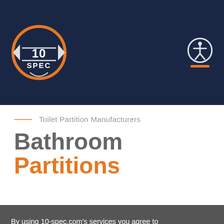[Figure (logo): 10 SPEC logo — circular orange ring with arrow shapes on sides, text '10' and 'SPEC' in white on dark navy background, set against a dark navy header]
Toilet Partition Manufacturers
Bathroom Partitions
By using 10-spec.com's services you agree to our Cookies Use and Data Transfer outside the EU. We and our partners operate globally and use cookies, including for analytics, personalisation, ads and Newsletters. Find out more.